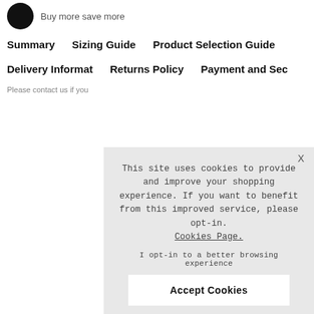Buy more save more
Summary
Sizing Guide
Product Selection Guide
Delivery Informat
Returns Policy
Payment and Sec
This site uses cookies to provide and improve your shopping experience. If you want to benefit from this improved service, please opt-in. Cookies Page.
I opt-in to a better browsing experience
Accept Cookies
Please contact us if you